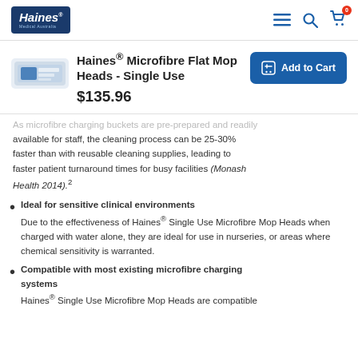Haines Medical Australia — navigation header with logo, menu, search, and cart icons
Haines® Microfibre Flat Mop Heads - Single Use
$135.96
[Figure (photo): Product photo of Haines Microfibre Flat Mop Heads packaging]
Add to Cart button
As microfibre charging buckets are pre-prepared and readily available for staff, the cleaning process can be 25-30% faster than with reusable cleaning supplies, leading to faster patient turnaround times for busy facilities (Monash Health 2014).²
Ideal for sensitive clinical environments
Due to the effectiveness of Haines® Single Use Microfibre Mop Heads when charged with water alone, they are ideal for use in nurseries, or areas where chemical sensitivity is warranted.
Compatible with most existing microfibre charging systems
Haines® Single Use Microfibre Mop Heads are compatible